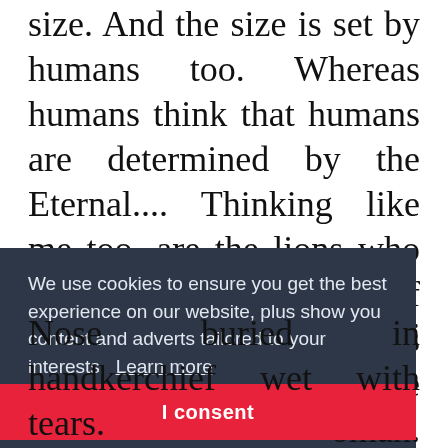size. And the size is set by humans too. Whereas humans think that humans are determined by the Eternal.... Thinking like me too, are the lions who have now become piles of meat? Kartini's slipper was dragging on the floor. The three of us said nothing. She was too impressed by the news that had just
ago.
[Figure (screenshot): Cookie consent overlay with dark background (#2d3748) reading: 'We use cookies to ensure you get the best experience on our website, plus show you content and adverts tailored to your interests. Learn more' with a red 'I consent' button below.]
oman.
owed.
Nose buried in handkerchief wet with tears.